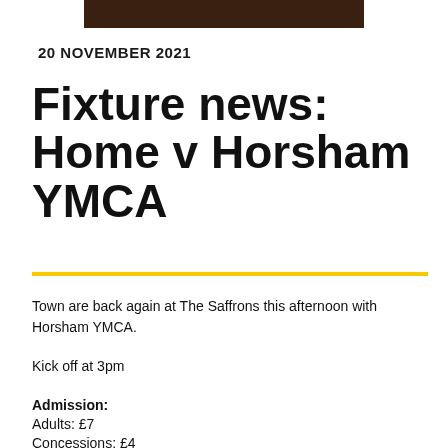[Figure (photo): Header image — dark brown/black banner photo]
20 NOVEMBER 2021
Fixture news: Home v Horsham YMCA
Town are back again at The Saffrons this afternoon with Horsham YMCA.
Kick off at 3pm
Admission:
Adults: £7
Concessions: £4